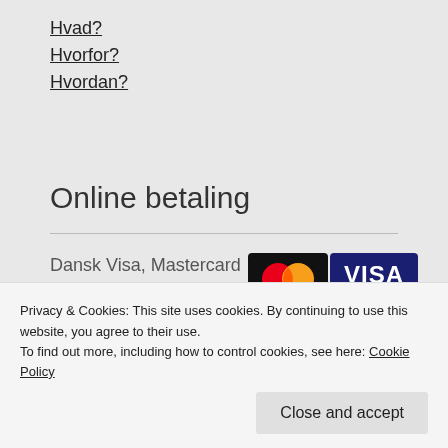Hvad?
Hvorfor?
Hvordan?
Online betaling
Dansk Visa, Mastercard eller bankoverførsel.
[Figure (logo): Mastercard and VISA payment logos]
Privacy & Cookies: This site uses cookies. By continuing to use this website, you agree to their use. To find out more, including how to control cookies, see here: Cookie Policy
Close and accept